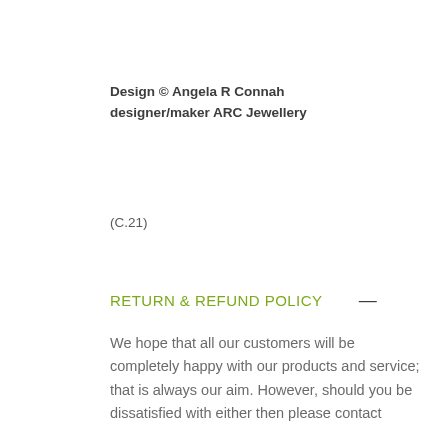Design © Angela R Connah designer/maker ARC Jewellery
(C.21)
RETURN & REFUND POLICY —
We hope that all our customers will be completely happy with our products and service; that is always our aim. However, should you be dissatisfied with either then please contact